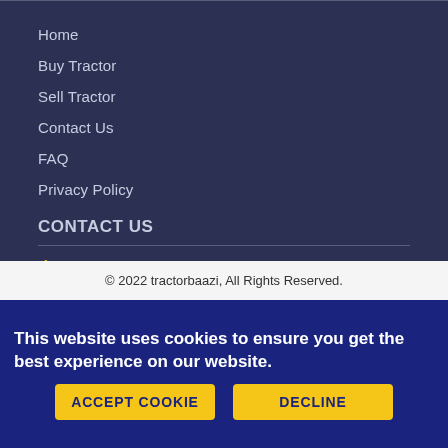Home
Buy Tractor
Sell Tractor
Contact Us
FAQ
Privacy Policy
CONTACT US
1800-266-4466
info@tractorbaazi.co.in
© 2022 tractorbaazi, All Rights Reserved.
This website uses cookies to ensure you get the best experience on our website.
ACCEPT COOKIE
DECLINE